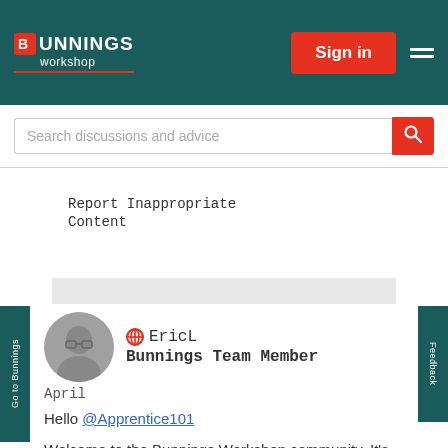Bunnings Workshop — Sign in
Search discussions and advice
Report Inappropriate Content
EricL
Bunnings Team Member
April
Hello @Apprentice101

Welcome to the Bunnings Workshop community. It's wonderful to have you join us, and thank you for sharing your question about the laundry benchtop.